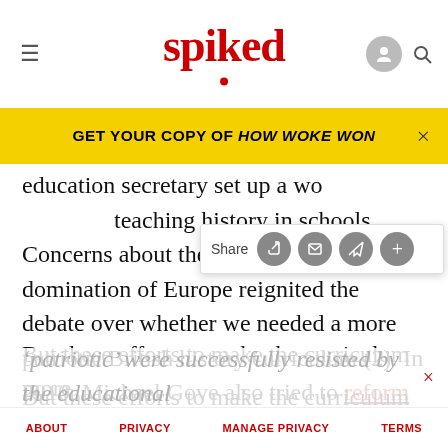spiked
GET YOUR COPY OF HOW WOKE WON
education secretary set up a wo... teaching history in schools. Concerns about the possible German domination of Europe reignited the debate over whether we needed a more patriotic British history curriculum (2). In 2010, Michael Gove also tried to reform the curriculum, saying too much teaching was ‘trashing our past’.
But these efforts to make the curriculum more ‘patriotic’ were successfully resisted by the educational
ABOUT   PRIVACY   MANAGE PRIVACY   TERMS